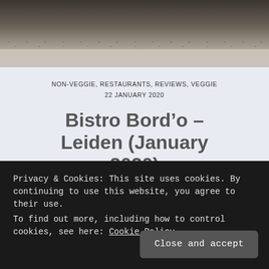[Figure (photo): Top portion of a speckled ceramic bowl or plate photographed from above, with dark background fading to light beige/cream surface with dark speckles]
NON-VEGGIE, RESTAURANTS, REVIEWS, VEGGIE
22 JANUARY 2020
Bistro Bord’o – Leiden (January 2020)
Privacy & Cookies: This site uses cookies. By continuing to use this website, you agree to their use.
To find out more, including how to control cookies, see here: Cookie Policy